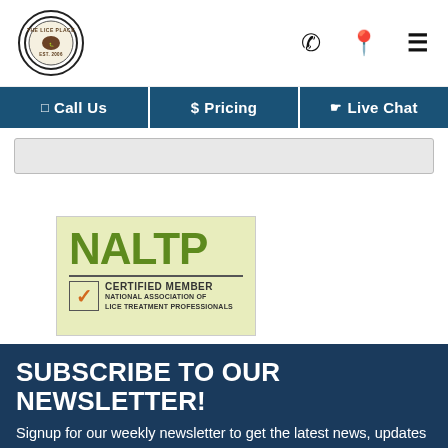[Figure (logo): The Lice Place circular logo with EST. 2006]
Call Us | $ Pricing | Live Chat
[Figure (logo): NALTP Certified Member - National Association of Lice Treatment Professionals badge]
SUBSCRIBE TO OUR NEWSLETTER!
Signup for our weekly newsletter to get the latest news, updates and amazing offers delivered directly in your inbox.